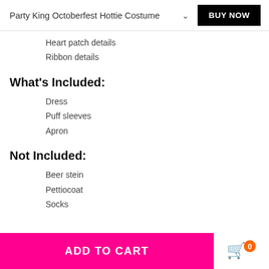Party King Octoberfest Hottie Costume
Heart patch details
Ribbon details
What's Included:
Dress
Puff sleeves
Apron
Not Included:
Beer stein
Pettiocoat
Socks
ADD TO CART